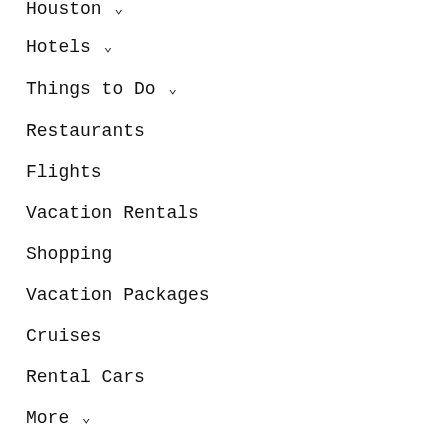Houston ∨
Hotels ∨
Things to Do ∨
Restaurants
Flights
Vacation Rentals
Shopping
Vacation Packages
Cruises
Rental Cars
More ∨